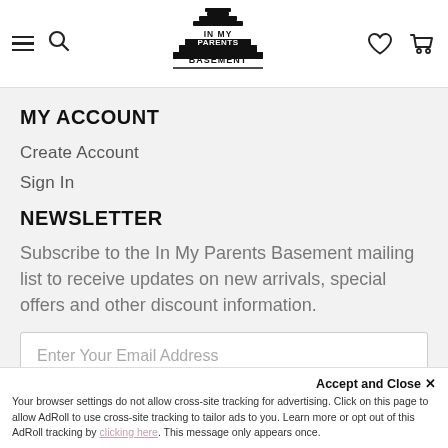[Figure (logo): In My Parents Basement logo — stacked layers resembling a building/cake with text 'IN MY PARENTS BASEMENT']
MY ACCOUNT
Create Account
Sign In
NEWSLETTER
Subscribe to the In My Parents Basement mailing list to receive updates on new arrivals, special offers and other discount information.
Enter Your Email Address
Accept and Close ×
Your browser settings do not allow cross-site tracking for advertising. Click on this page to allow AdRoll to use cross-site tracking to tailor ads to you. Learn more or opt out of this AdRoll tracking by clicking here. This message only appears once.